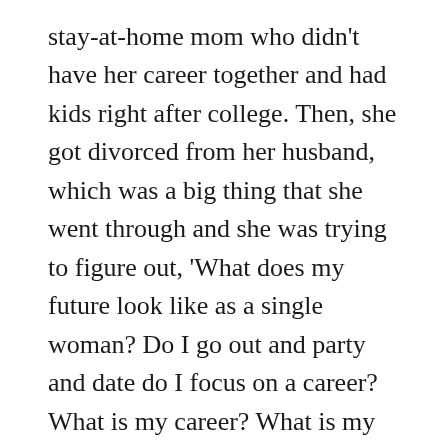stay-at-home mom who didn't have her career together and had kids right after college. Then, she got divorced from her husband, which was a big thing that she went through and she was trying to figure out, ‘What does my future look like as a single woman? Do I go out and party and date do I focus on a career? What is my career? What is my role as a woman outside of my motherhood?’ and I know that’s something that I think all women can relate to,” the actress explained. “I can certainly as a mother relate to that, like what is my purpose outside of motherhood and so it was really fun to explore that with her.”